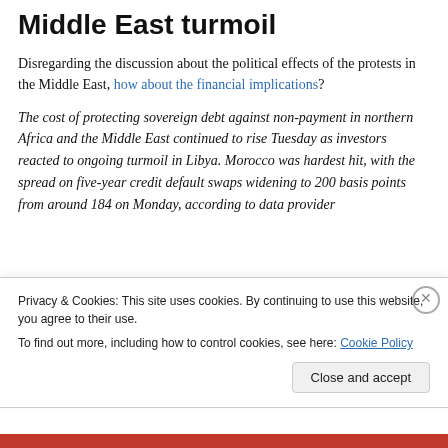Middle East turmoil
Disregarding the discussion about the political effects of the protests in the Middle East, how about the financial implications?
The cost of protecting sovereign debt against non-payment in northern Africa and the Middle East continued to rise Tuesday as investors reacted to ongoing turmoil in Libya. Morocco was hardest hit, with the spread on five-year credit default swaps widening to 200 basis points from around 184 on Monday, according to data provider
Privacy & Cookies: This site uses cookies. By continuing to use this website, you agree to their use.
To find out more, including how to control cookies, see here: Cookie Policy